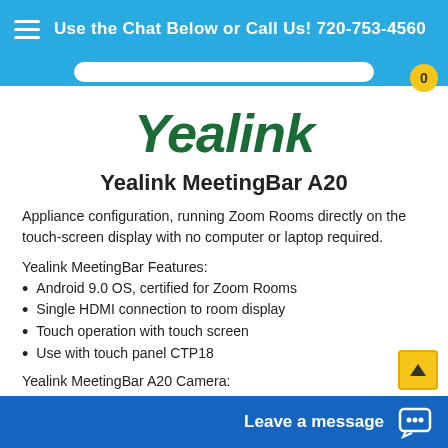Use the Chat Below or Call Us! 720-753-4560
[Figure (logo): Yealink brand logo in dark green italic bold text]
Yealink MeetingBar A20
Appliance configuration, running Zoom Rooms directly on the touch-screen display with no computer or laptop required.
Yealink MeetingBar Features:
Android 9.0 OS, certified for Zoom Rooms
Single HDMI connection to room display
Touch operation with touch screen
Use with touch panel CTP18
Yealink MeetingBar A20 Camera:
20MP Camera
133° field of view